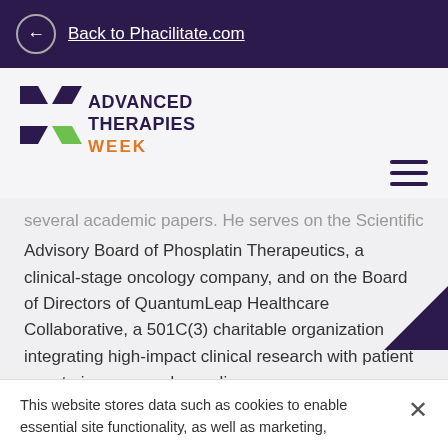← Back to Phacilitate.com
[Figure (logo): Advanced Therapies Week logo with X mark icon in navy and green, and WEEK in orange]
several academic papers. He serves on the Scientific Advisory Board of Phosplatin Therapeutics, a clinical-stage oncology company, and on the Board of Directors of QuantumLeap Healthcare Collaborative, a 501C(3) charitable organization integrating high-impact clinical research with patient care to improve and save lives.
This website stores data such as cookies to enable essential site functionality, as well as marketing,